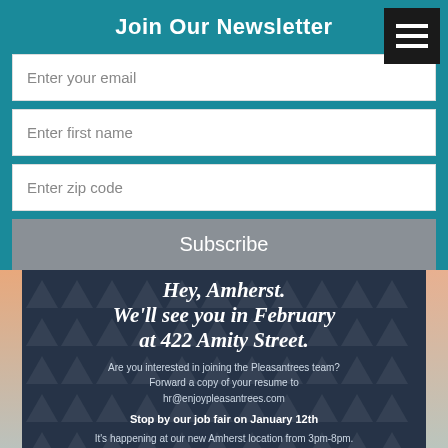Join Our Newsletter
Enter your email
Enter first name
Enter zip code
Subscribe
Hey, Amherst. We'll see you in February at 422 Amity Street.
Are you interested in joining the Pleasantrees team? Forward a copy of your resume to hr@enjoypleasantrees.com
Stop by our job fair on January 12th It's happening at our new Amherst location from 3pm-8pm.
We're always looking for pleasant people to join our team, stop by and say high.
[Figure (other): QR code for learning more about Pleasantrees]
Scan here to learn more about us